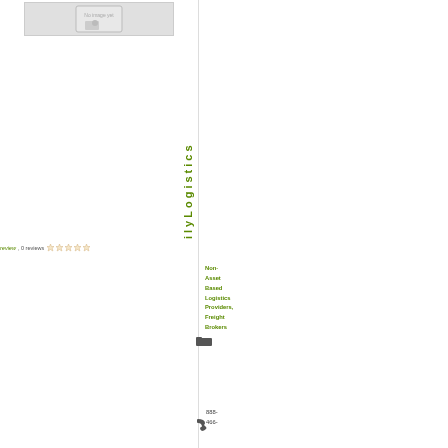[Figure (illustration): Placeholder image with 'No image yet' text and a generic image icon]
ilyLogistics
review, 0 reviews
Non-Asset Based Logistics Providers, Freight Brokers
888-466-